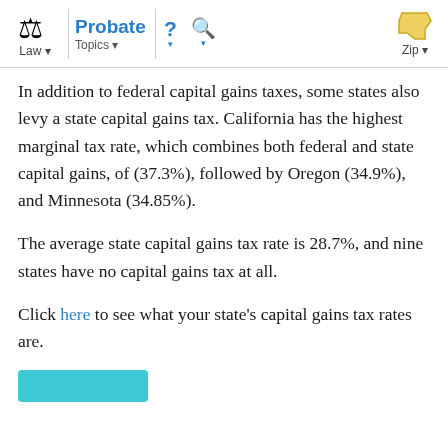Law | Probate | Topics | ? | Q | Zip
In addition to federal capital gains taxes, some states also levy a state capital gains tax. California has the highest marginal tax rate, which combines both federal and state capital gains, of (37.3%), followed by Oregon (34.9%), and Minnesota (34.85%).
The average state capital gains tax rate is 28.7%, and nine states have no capital gains tax at all.
Click here to see what your state's capital gains tax rates are.